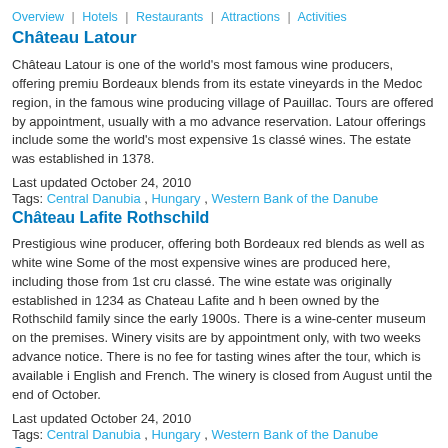Overview | Hotels | Restaurants | Attractions | Activities
Château Latour
Château Latour is one of the world's most famous wine producers, offering premium Bordeaux blends from its estate vineyards in the Medoc region, in the famous wine-producing village of Pauillac. Tours are offered by appointment, usually with a month advance reservation. Latour offerings include some the world's most expensive 1st classé wines. The estate was established in 1378.
Last updated October 24, 2010
Tags: Central Danubia , Hungary , Western Bank of the Danube
Château Lafite Rothschild
Prestigious wine producer, offering both Bordeaux red blends as well as white wines. Some of the most expensive wines are produced here, including those from 1st cru classé. The wine estate was originally established in 1234 as Chateau Lafite and has been owned by the Rothschild family since the early 1900s. There is a wine-centered museum on the premises. Winery visits are by appointment only, with two weeks advance notice. There is no fee for tasting wines after the tour, which is available in English and French. The winery is closed from August until the end of October.
Last updated October 24, 2010
Tags: Central Danubia , Hungary , Western Bank of the Danube
Germany